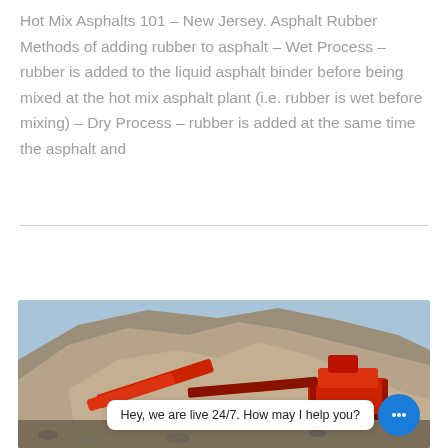Hot Mix Asphalts 101 – New Jersey. Asphalt Rubber Methods of adding rubber to asphalt – Wet Process – rubber is added to the liquid asphalt binder before being mixed at the hot mix asphalt plant (i.e. rubber is wet before mixing) – Dry Process – rubber is added at the same time the asphalt and
Learn More
[Figure (photo): Construction site photograph showing a large mound of aggregate/gravel material with red heavy machinery (conveyor/crusher equipment) in the foreground. A chat widget overlay reads: Hey, we are live 24/7. How may I help you?]